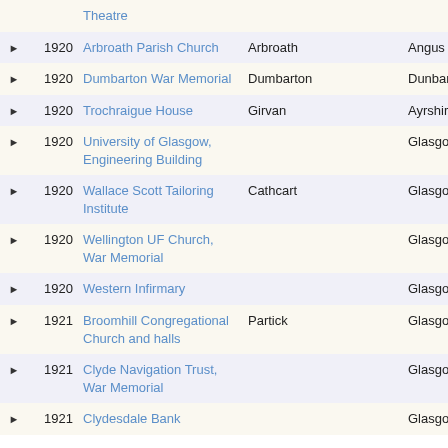|  | Year | Name | Location |  | Region |
| --- | --- | --- | --- | --- | --- |
| ▶ |  | Theatre |  |  |  |
| ▶ | 1920 | Arbroath Parish Church | Arbroath |  | Angus |
| ▶ | 1920 | Dumbarton War Memorial | Dumbarton |  | Dunbartonshire |
| ▶ | 1920 | Trochraigue House | Girvan |  | Ayrshire |
| ▶ | 1920 | University of Glasgow, Engineering Building |  |  | Glasgow |
| ▶ | 1920 | Wallace Scott Tailoring Institute | Cathcart |  | Glasgow |
| ▶ | 1920 | Wellington UF Church, War Memorial |  |  | Glasgow |
| ▶ | 1920 | Western Infirmary |  |  | Glasgow |
| ▶ | 1921 | Broomhill Congregational Church and halls | Partick |  | Glasgow |
| ▶ | 1921 | Clyde Navigation Trust, War Memorial |  |  | Glasgow |
| ▶ | 1921 | Clydesdale Bank |  |  | Glasgow |